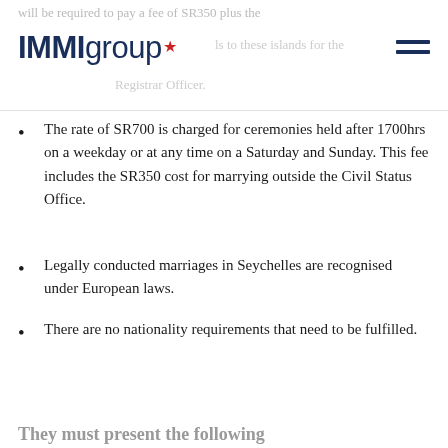will be required to pay a fee of SR350 plus the cost of travelling to these islands for the Registrar Officer.
[Figure (logo): IMMIgroup logo with red maple leaf star and hamburger menu icon]
The rate of SR700 is charged for ceremonies held after 1700hrs on a weekday or at any time on a Saturday and Sunday. This fee includes the SR350 cost for marrying outside the Civil Status Office.
Legally conducted marriages in Seychelles are recognised under European laws.
There are no nationality requirements that need to be fulfilled.
A special stamp (Apostille) is required to validate the marriage certificate obtained after the civil ceremony for all nationalities except for British nationals. This stamp is available at the Registrar’s office located at the Supreme Court for a fee of SR65.
They must present the following